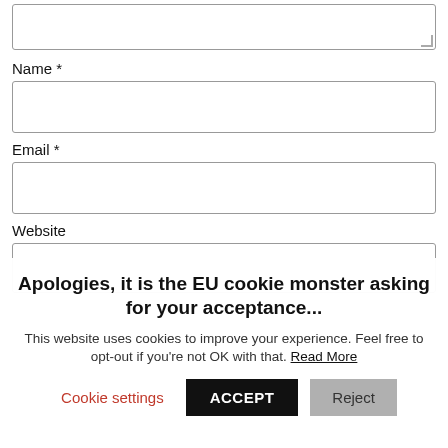[Figure (screenshot): Top portion of a web comment form showing a textarea (partially visible at top), followed by Name *, Email *, and Website input fields]
Name *
Email *
Website
Apologies, it is the EU cookie monster asking for your acceptance...
This website uses cookies to improve your experience. Feel free to opt-out if you're not OK with that. Read More
Cookie settings  ACCEPT  Reject